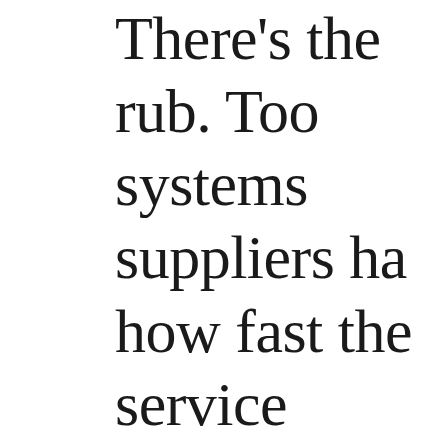There's the rub. Too many systems suppliers have no idea how fast the service evolution is sweeping organizations. It's in application software that take advantage of converged and modularized int...